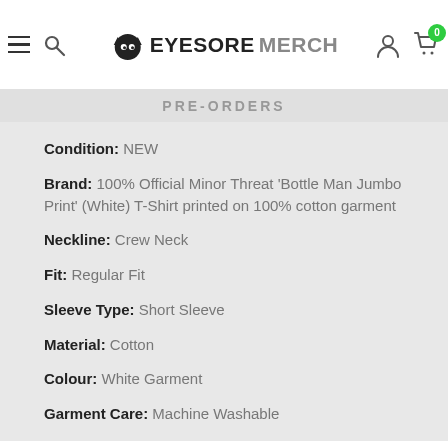EYESORE MERCH — navigation header with hamburger menu, search icon, logo, user icon, cart with badge 0
PRE-ORDERS
Condition: NEW
Brand: 100% Official Minor Threat 'Bottle Man Jumbo Print' (White) T-Shirt printed on 100% cotton garment
Neckline: Crew Neck
Fit: Regular Fit
Sleeve Type: Short Sleeve
Material: Cotton
Colour: White Garment
Garment Care: Machine Washable